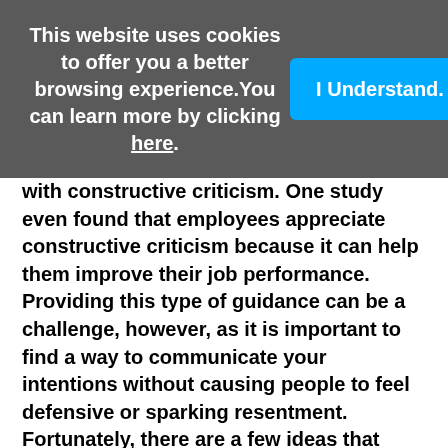This website uses cookies to offer you a better browsing experience. You can learn more by clicking here.
I Understand.
with constructive criticism. One study even found that employees appreciate constructive criticism because it can help them improve their job performance. Providing this type of guidance can be a challenge, however, as it is important to find a way to communicate your intentions without causing people to feel defensive or sparking resentment. Fortunately, there are a few ideas that leaders can keep in mind to provide their group with better guidance, helping everyone to function well as a team.
Demonstrate the qualities you want to see in